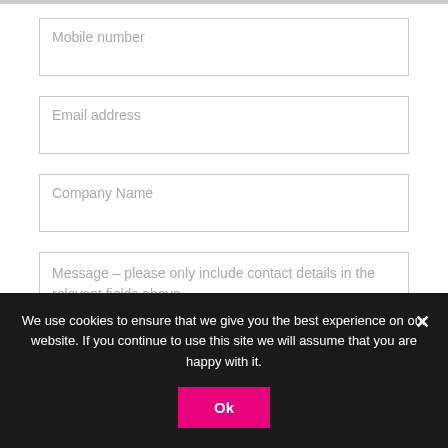Mobile number
Email address
Company Name
Message – please only include contact details in the relevant fields above
We use cookies to ensure that we give you the best experience on our website. If you continue to use this site we will assume that you are happy with it.
Ok